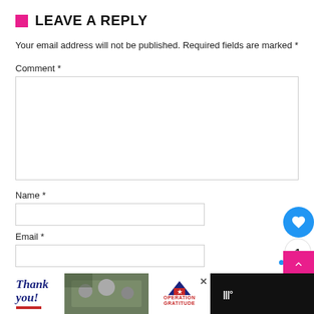LEAVE A REPLY
Your email address will not be published. Required fields are marked *
Comment *
Name *
Email *
Website
[Figure (screenshot): Bottom advertisement bar with 'Thank you!' military Operation Gratitude ad, close button, and weather icon on dark background]